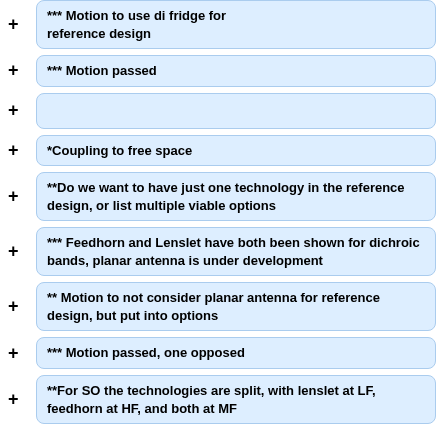*** Motion to use di fridge for reference design
*** Motion passed
*Coupling to free space
**Do we want to have just one technology in the reference design, or list multiple viable options
*** Feedhorn and Lenslet have both been shown for dichroic bands, planar antenna is under development
** Motion to not consider planar antenna for reference design, but put into options
*** Motion passed, one opposed
**For SO the technologies are split, with lenslet at LF, feedhorn at HF, and both at MF